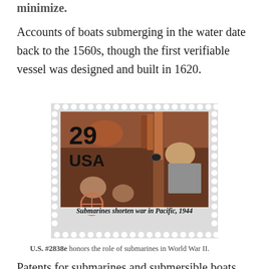minimize.
Accounts of boats submerging in the water date back to the 1560s, though the first verifiable vessel was designed and built in 1620.
[Figure (photo): A U.S. postage stamp showing '29 USA' with an image of submarine crew members operating a periscope. The stamp reads 'Submarines shorten war in Pacific, 1944' and is shown on a perforated stamp background.]
U.S. #2838e honors the role of submarines in World War II.
Patents for submarines and submersible boats were